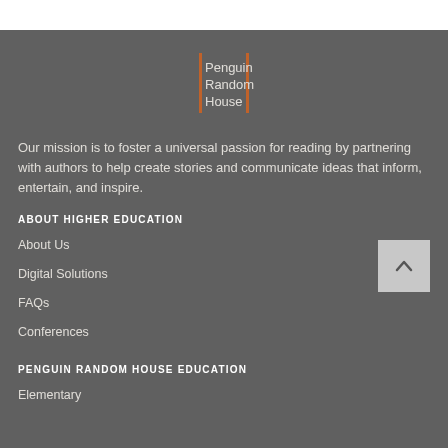[Figure (logo): Penguin Random House logo with orange vertical bar and white text reading 'Penguin Random House']
Our mission is to foster a universal passion for reading by partnering with authors to help create stories and communicate ideas that inform, entertain, and inspire.
ABOUT HIGHER EDUCATION
About Us
Digital Solutions
FAQs
Conferences
PENGUIN RANDOM HOUSE EDUCATION
Elementary